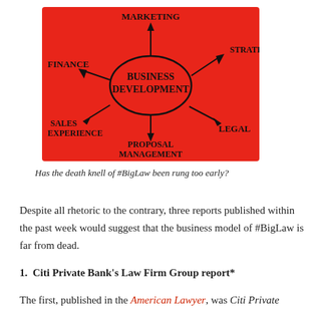[Figure (infographic): Red background mind-map diagram showing 'Business Development' at the center (inside an oval), with arrows pointing to/from: Marketing (top), Strategy (right), Legal (bottom-right), Proposal Management (bottom), Sales Experience (bottom-left), Finance (left). Hand-drawn style on red card.]
Has the death knell of #BigLaw been rung too early?
Despite all rhetoric to the contrary, three reports published within the past week would suggest that the business model of #BigLaw is far from dead.
1. Citi Private Bank's Law Firm Group report*
The first, published in the American Lawyer, was Citi Private Bank's